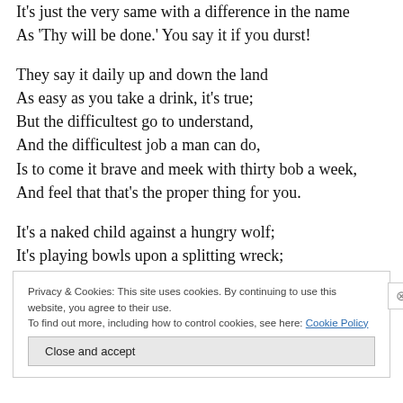It's just the very same with a difference in the name
As 'Thy will be done.' You say it if you durst!
They say it daily up and down the land
As easy as you take a drink, it's true;
But the difficultest go to understand,
And the difficultest job a man can do,
Is to come it brave and meek with thirty bob a week,
And feel that that's the proper thing for you.
It's a naked child against a hungry wolf;
It's playing bowls upon a splitting wreck;
Privacy & Cookies: This site uses cookies. By continuing to use this website, you agree to their use.
To find out more, including how to control cookies, see here: Cookie Policy